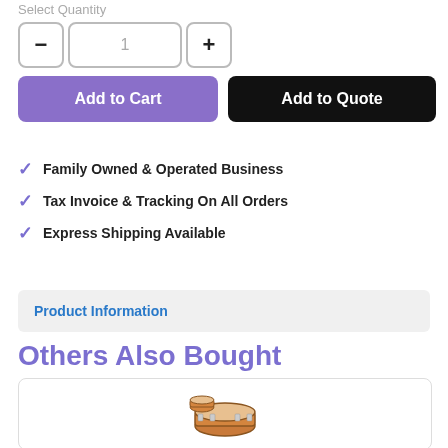Select Quantity
[Figure (screenshot): Quantity selector with minus button, input showing 1, and plus button]
Add to Cart
Add to Quote
Family Owned & Operated Business
Tax Invoice & Tracking On All Orders
Express Shipping Available
Product Information
Others Also Bought
[Figure (photo): Drum kit product image in a card]